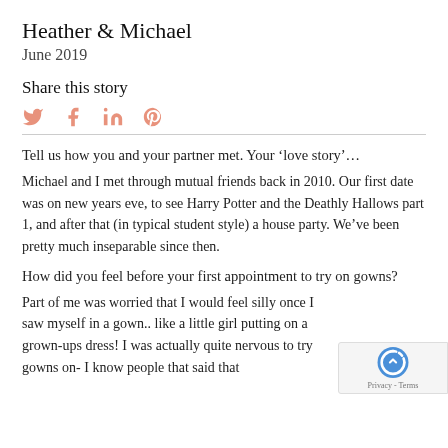Heather & Michael
June 2019
Share this story
[Figure (infographic): Social media share icons: Twitter bird, Facebook f, LinkedIn in, Pinterest p — rendered in salmon/coral color]
Tell us how you and your partner met. Your ‘love story’…
Michael and I met through mutual friends back in 2010. Our first date was on new years eve, to see Harry Potter and the Deathly Hallows part 1, and after that (in typical student style) a house party. We’ve been pretty much inseparable since then.
How did you feel before your first appointment to try on gowns?
Part of me was worried that I would feel silly once I saw myself in a gown.. like a little girl putting on a grown-ups dress! I was actually quite nervous to try gowns on- I know people that said that they absolutely loved every minute of it but